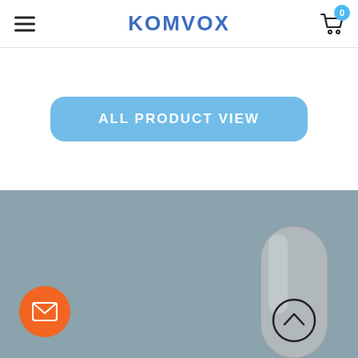KOMVOX
[Figure (screenshot): ALL PRODUCT VIEW button - a rounded rectangle blue button with white text]
[Figure (illustration): Gray background section with an orange email/envelope circular button on the left and a silver elongated remote control device on the bottom right with a circular up-arrow button]